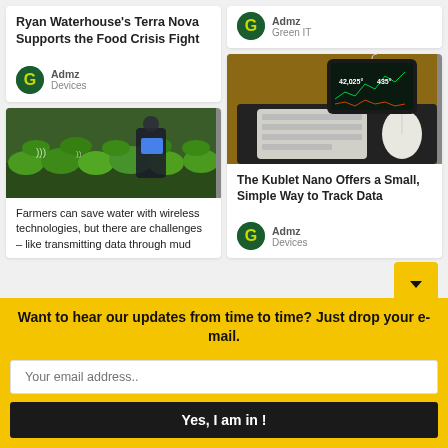Ryan Waterhouse's Terra Nova Supports the Food Crisis Fight
Admz
Devices
Admz
Green IT
[Figure (photo): Person using a tablet in a greenhouse/farm, with plants visible.]
Farmers can save water with wireless technologies, but there are challenges – like transmitting data through mud
Admz
Devices
[Figure (photo): A small device (Kublet Nano) showing financial data (42,025 and 435) on screen, with keyboard and mouse in background.]
The Kublet Nano Offers a Small, Simple Way to Track Data
Admz
Devices
Want to hear our updates from time to time? Just drop your e-mail.
Your email address..
Yes, I am in !